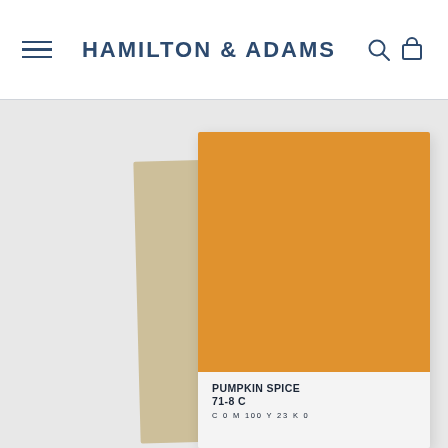HAMILTON & ADAMS
[Figure (photo): Product photo of a color swatch card labeled PUMPKIN SPICE 71-8 C with orange color panel on kraft paper background, against light gray background]
PUMPKIN SPICE
71-8 C
C 0 M 100 Y 23 K 0